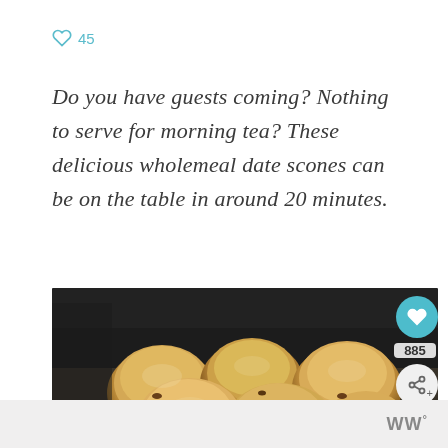45
Do you have guests coming? Nothing to serve for morning tea? These delicious wholemeal date scones can be on the table in around 20 minutes.
[Figure (photo): Photo of freshly baked wholemeal date scones on a baking tray, with a heart/like button showing 885 likes and a share button overlay on the right side of the image.]
WW°